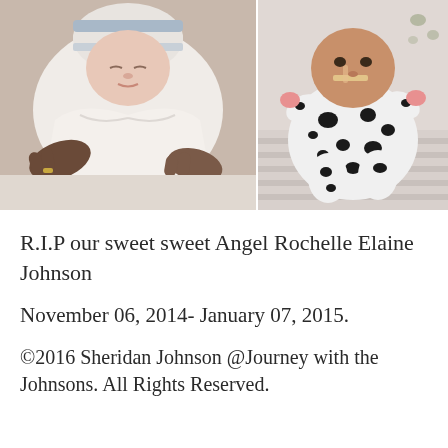[Figure (photo): Two photos of a newborn baby. Left photo shows a swaddled newborn in a striped hospital hat being held by adult hands. Right photo shows the same baby in a black and white dalmatian-print outfit lying on a striped blanket.]
R.I.P our sweet sweet Angel Rochelle Elaine Johnson
November 06, 2014- January 07, 2015.
©2016 Sheridan Johnson @Journey with the Johnsons. All Rights Reserved.